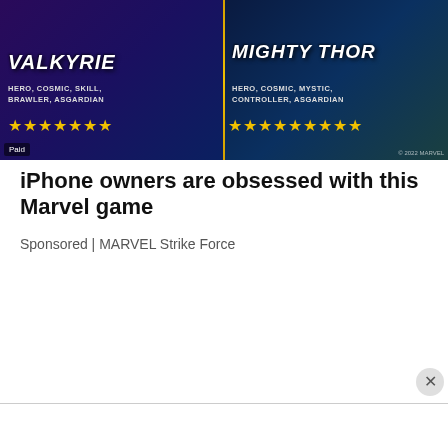[Figure (illustration): Marvel Strike Force game advertisement image showing two characters side by side: Valkyrie on the left (Hero, Cosmic, Skill, Brawler, Asgardian) with 7 gold stars, and Mighty Thor on the right (Hero, Cosmic, Mystic, Controller, Asgardian) with 9 gold stars. Each character has their name displayed in large italic white bold text. A 'Paid' badge is in the bottom left corner.]
iPhone owners are obsessed with this Marvel game
Sponsored | MARVEL Strike Force